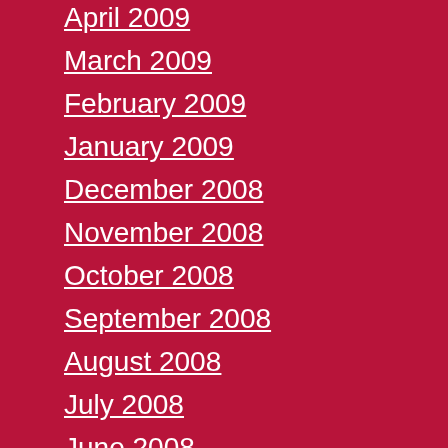April 2009
March 2009
February 2009
January 2009
December 2008
November 2008
October 2008
September 2008
August 2008
July 2008
June 2008
May 2008
April 2008